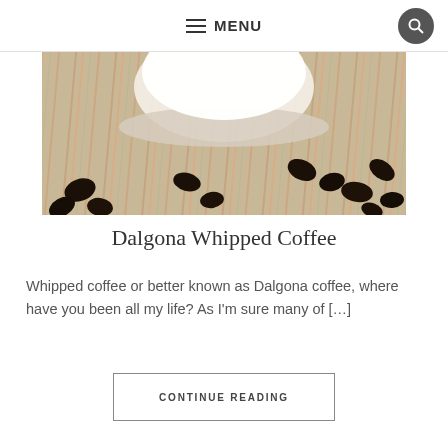☰ MENU
[Figure (photo): A glass of whipped Dalgona coffee from below, with coffee beans scattered on a striped cloth beneath it]
Dalgona Whipped Coffee
Whipped coffee or better known as Dalgona coffee, where have you been all my life? As I'm sure many of […]
CONTINUE READING